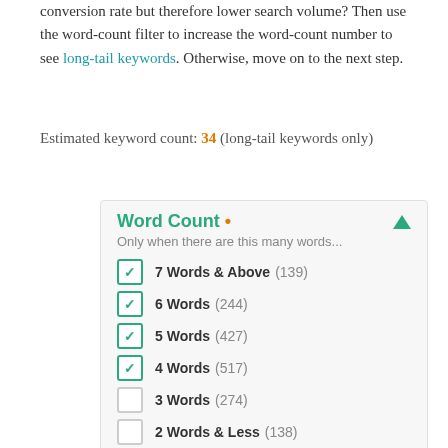conversion rate but therefore lower search volume? Then use the word-count filter to increase the word-count number to see long-tail keywords. Otherwise, move on to the next step.
Estimated keyword count: 34 (long-tail keywords only)
[Figure (other): Word Count filter panel with checkboxes. Title: Word Count (orange dot). Subtitle: Only when there are this many words... Checked: 7 Words & Above (139), 6 Words (244), 5 Words (427), 4 Words (517). Unchecked: 3 Words (274), 2 Words & Less (138). Link: Set custom range »]